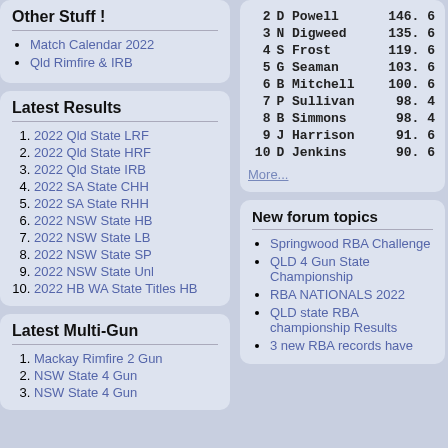Other Stuff !
Match Calendar 2022
Qld Rimfire & IRB
Latest Results
2022 Qld State LRF
2022 Qld State HRF
2022 Qld State IRB
2022 SA State CHH
2022 SA State RHH
2022 NSW State HB
2022 NSW State LB
2022 NSW State SP
2022 NSW State Unl
2022 HB WA State Titles HB
Latest Multi-Gun
Mackay Rimfire 2 Gun
NSW State 4 Gun
NSW State 4 Gun
| # | Name | Score |
| --- | --- | --- |
| 2 | D Powell | 146. 6 |
| 3 | N Digweed | 135. 6 |
| 4 | S Frost | 119. 6 |
| 5 | G Seaman | 103. 6 |
| 6 | B Mitchell | 100. 6 |
| 7 | P Sullivan | 98. 4 |
| 8 | B Simmons | 98. 4 |
| 9 | J Harrison | 91. 6 |
| 10 | D Jenkins | 90. 6 |
More...
New forum topics
Springwood RBA Challenge
QLD 4 Gun State Championship
RBA NATIONALS 2022
QLD state RBA championship Results
3 new RBA records have